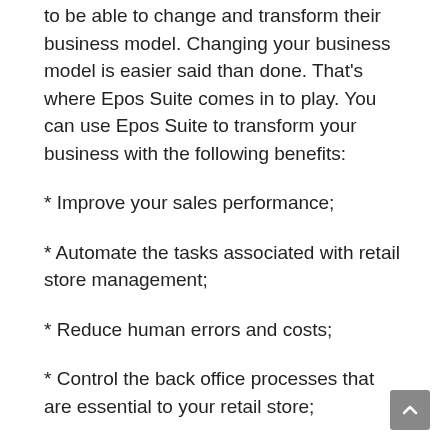to be able to change and transform their business model. Changing your business model is easier said than done. That's where Epos Suite comes in to play. You can use Epos Suite to transform your business with the following benefits:
* Improve your sales performance;
* Automate the tasks associated with retail store management;
* Reduce human errors and costs;
* Control the back office processes that are essential to your retail store;
* Receive alerts and status notifications to help you improve overall business efficiency;